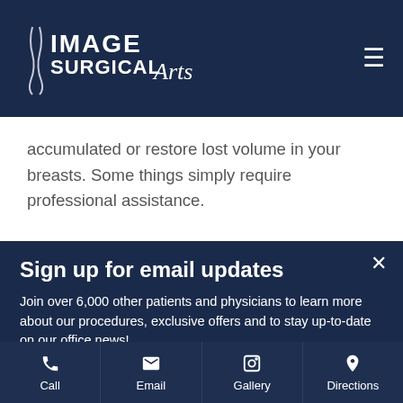[Figure (logo): Image Surgical Arts logo — white text on dark navy background with decorative flourish]
accumulated or restore lost volume in your breasts. Some things simply require professional assistance.
Sign up for email updates
Join over 6,000 other patients and physicians to learn more about our procedures, exclusive offers and to stay up-to-date on our office news!
Call   Email   Gallery   Directions